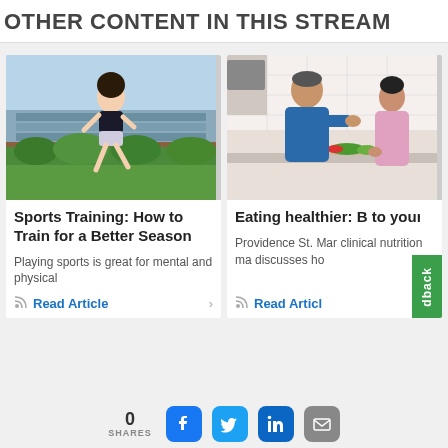OTHER CONTENT IN THIS STREAM
[Figure (photo): Woman jogging outdoors near solar panels and green hedges]
Sports Training: How to Train for a Better Season
Playing sports is great for mental and physical
Read Article
[Figure (photo): Man and teenager cooking together in kitchen with vegetables]
Eating healthier: B to yourself when making diet chang
Providence St. Mar clinical nutrition ma discusses ho
Read Articl
0 SHARES